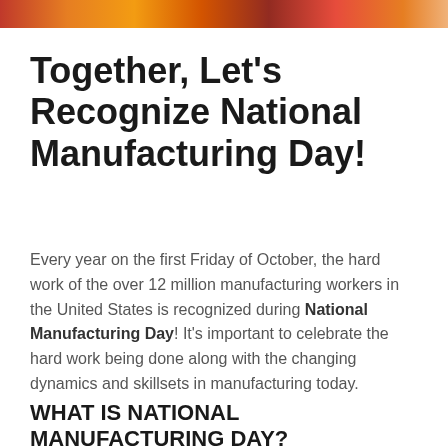[Figure (photo): Colorful cropped photo strip at the top of the page showing manufacturing workers]
Together, Let's Recognize National Manufacturing Day!
Every year on the first Friday of October, the hard work of the over 12 million manufacturing workers in the United States is recognized during National Manufacturing Day! It's important to celebrate the hard work being done along with the changing dynamics and skillsets in manufacturing today.
WHAT IS NATIONAL MANUFACTURING DAY?